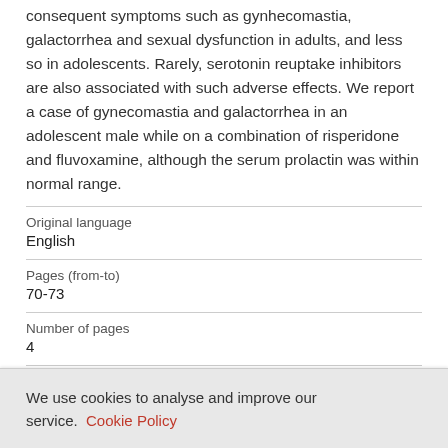consequent symptoms such as gynhecomastia, galactorrhea and sexual dysfunction in adults, and less so in adolescents. Rarely, serotonin reuptake inhibitors are also associated with such adverse effects. We report a case of gynecomastia and galactorrhea in an adolescent male while on a combination of risperidone and fluvoxamine, although the serum prolactin was within normal range.
| Original language | English |
| Pages (from-to) | 70-73 |
| Number of pages | 4 |
| Journal |  |
We use cookies to analyse and improve our service. Cookie Policy